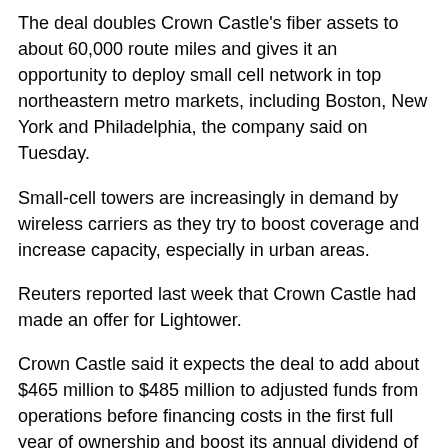The deal doubles Crown Castle's fiber assets to about 60,000 route miles and gives it an opportunity to deploy small cell network in top northeastern metro markets, including Boston, New York and Philadelphia, the company said on Tuesday.
Small-cell towers are increasingly in demand by wireless carriers as they try to boost coverage and increase capacity, especially in urban areas.
Reuters reported last week that Crown Castle had made an offer for Lightower.
Crown Castle said it expects the deal to add about $465 million to $485 million to adjusted funds from operations before financing costs in the first full year of ownership and boost its annual dividend of $3.80 by 15 cents to 20 cents per share.